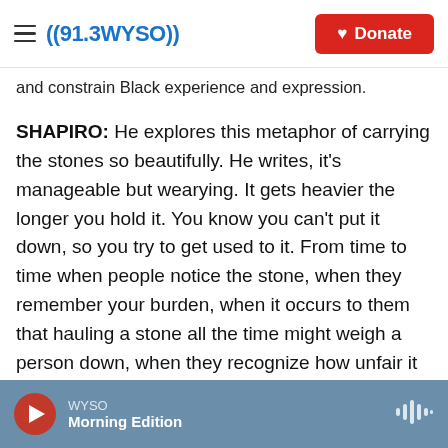((91.3 WYSO)) | Donate
and constrain Black experience and expression.
SHAPIRO: He explores this metaphor of carrying the stones so beautifully. He writes, it's manageable but wearying. It gets heavier the longer you hold it. You know you can't put it down, so you try to get used to it. From time to time when people notice the stone, when they remember your burden, when it occurs to them that hauling a stone all the time might weigh a person down, when they recognize how unfair it is, you can almost feel seen or validated.
SMITH: Yeah, I also feel - every time I read that and
WYSO | Morning Edition